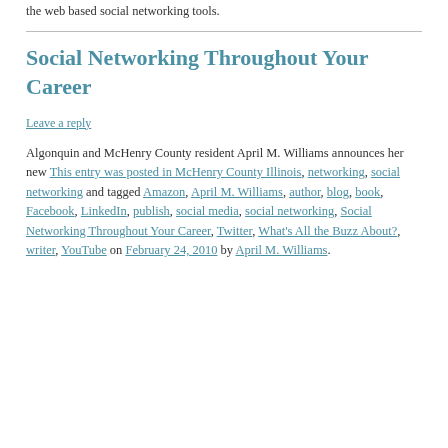the web based social networking tools.
Social Networking Throughout Your Career
Leave a reply
Algonquin and McHenry County resident April M. Williams announces her new This entry was posted in McHenry County Illinois, networking, social networking and tagged Amazon, April M. Williams, author, blog, book, Facebook, LinkedIn, publish, social media, social networking, Social Networking Throughout Your Career, Twitter, What's All the Buzz About?, writer, YouTube on February 24, 2010 by April M. Williams.